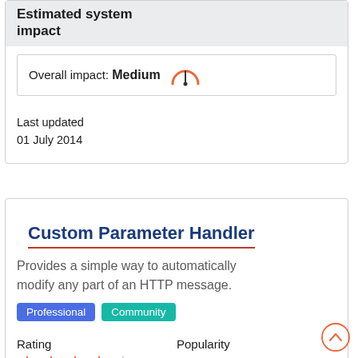Estimated system impact
Overall impact: Medium
Last updated
01 July 2014
Custom Parameter Handler
Provides a simple way to automatically modify any part of an HTTP message.
Professional  Community
Rating
Popularity